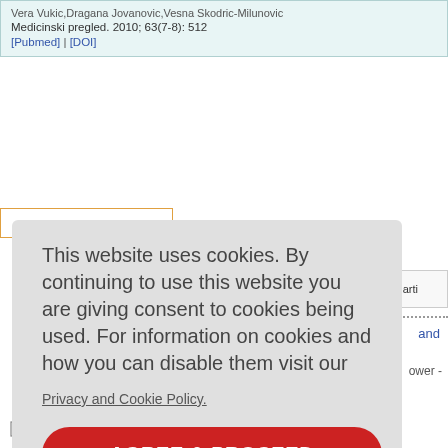Vera Vukic,Dragana Jovanovic,Vesna Skodric-Milunovic
Medicinski pregled. 2010; 63(7-8): 512
[Pubmed] | [DOI]
Next arti
and
ower -
This website uses cookies. By continuing to use this website you are giving consent to cookies being used. For information on cookies and how you can disable them visit our
Privacy and Cookie Policy.
AGREE & PROCEED
Editorial and Ethics Policies